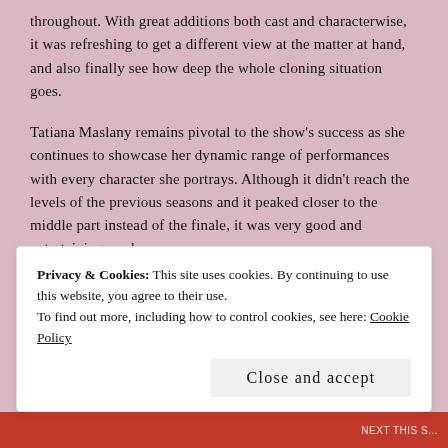throughout. With great additions both cast and characterwise, it was refreshing to get a different view at the matter at hand, and also finally see how deep the whole cloning situation goes.
Tatiana Maslany remains pivotal to the show's success as she continues to showcase her dynamic range of performances with every character she portrays. Although it didn't reach the levels of the previous seasons and it peaked closer to the middle part instead of the finale, it was very good and entertaining as always.
8/10
Follow @moviesauthority
Privacy & Cookies: This site uses cookies. By continuing to use this website, you agree to their use.
To find out more, including how to control cookies, see here: Cookie Policy
Close and accept
NEXT THIS S...